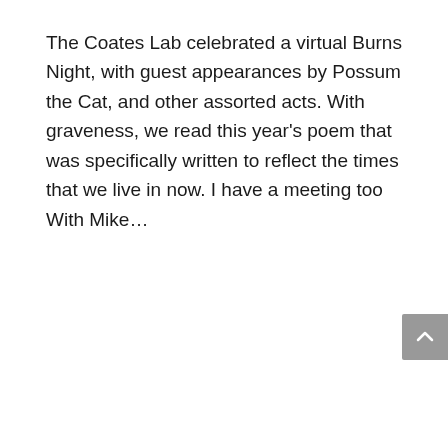The Coates Lab celebrated a virtual Burns Night, with guest appearances by Possum the Cat, and other assorted acts. With graveness, we read this year's poem that was specifically written to reflect the times that we live in now. I have a meeting too With Mike...